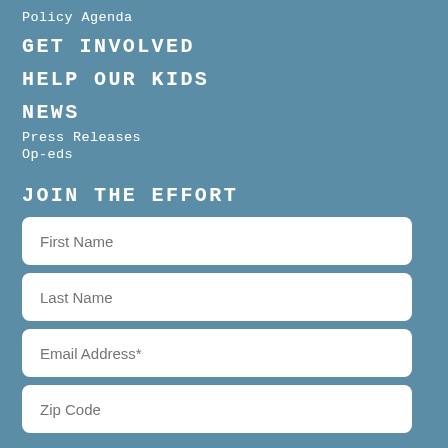Policy Agenda
GET INVOLVED
HELP OUR KIDS
NEWS
Press Releases
Op-eds
JOIN THE EFFORT
First Name
Last Name
Email Address*
Zip Code